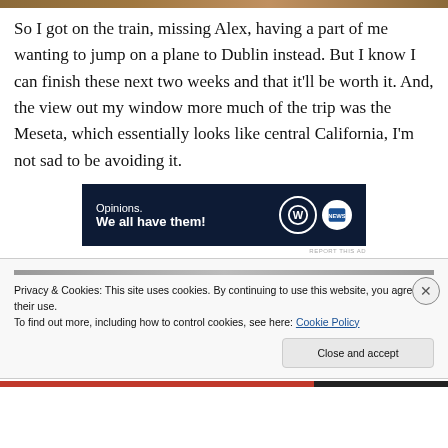So I got on the train, missing Alex, having a part of me wanting to jump on a plane to Dublin instead. But I know I can finish these next two weeks and that it'll be worth it. And, the view out my window more much of the trip was the Meseta, which essentially looks like central California, I'm not sad to be avoiding it.
[Figure (other): Advertisement banner with dark navy background showing 'Opinions. We all have them!' with WordPress logo and circular badge icon]
Privacy & Cookies: This site uses cookies. By continuing to use this website, you agree to their use.
To find out more, including how to control cookies, see here: Cookie Policy
Close and accept